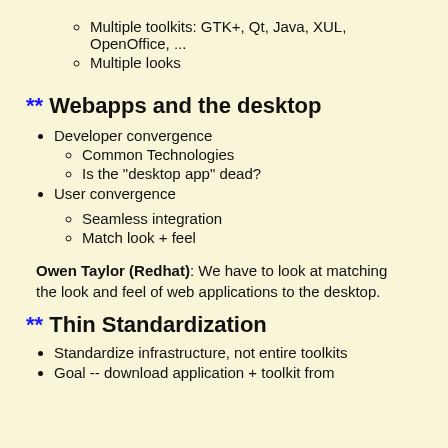Multiple toolkits: GTK+, Qt, Java, XUL, OpenOffice, ...
Multiple looks
** Webapps and the desktop
Developer convergence
Common Technologies
Is the "desktop app" dead?
User convergence
Seamless integration
Match look + feel
Owen Taylor (Redhat): We have to look at matching the look and feel of web applications to the desktop.
** Thin Standardization
Standardize infrastructure, not entire toolkits
Goal -- download application + toolkit from